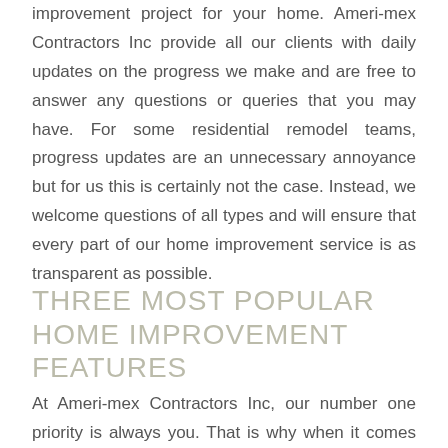improvement project for your home. Ameri-mex Contractors Inc provide all our clients with daily updates on the progress we make and are free to answer any questions or queries that you may have. For some residential remodel teams, progress updates are an unnecessary annoyance but for us this is certainly not the case. Instead, we welcome questions of all types and will ensure that every part of our home improvement service is as transparent as possible.
THREE MOST POPULAR HOME IMPROVEMENT FEATURES
At Ameri-mex Contractors Inc, our number one priority is always you. That is why when it comes to offering a